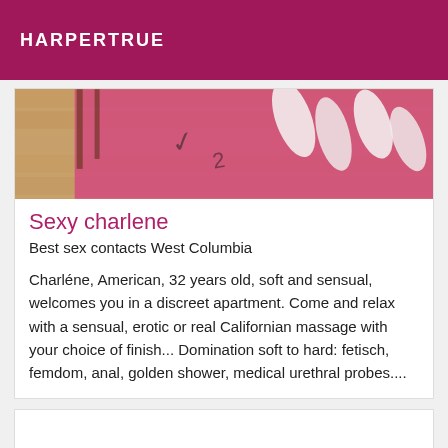HARPERTRUE
[Figure (photo): Partial view of a pink mat or towel with decorative elements on a wooden floor, top portion of a listing card image]
Sexy charlene
Best sex contacts West Columbia
Charléne, American, 32 years old, soft and sensual, welcomes you in a discreet apartment. Come and relax with a sensual, erotic or real Californian massage with your choice of finish... Domination soft to hard: fetisch, femdom, anal, golden shower, medical urethral probes....